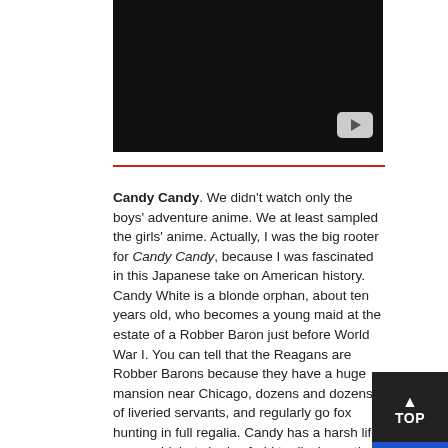[Figure (screenshot): Black video thumbnail with YouTube play button in bottom-right corner]
Candy Candy. We didn't watch only the boys' adventure anime. We at least sampled the girls' anime. Actually, I was the big rooter for Candy Candy, because I was fascinated in this Japanese take on American history. Candy White is a blonde orphan, about ten years old, who becomes a young maid at the estate of a Robber Baron just before World War I. You can tell that the Reagans are Robber Barons because they have a huge mansion near Chicago, dozens and dozens of liveried servants, and regularly go fox hunting in full regalia. Candy has a harsh life as a maid, but she is afraid to displease the head maid who warns her that if her work is not good enough, she will be EXILED TO MEXICO! Cut to a caricature of a Mexican slavemaster who makes the Frito Bandito look like Ricardo Montalban. Candy suffers as she grows up through over two years' worth of half-hour episodes, finally marrying her True Love. Candy Candy was even more popular in Italy than in Japan. Whe